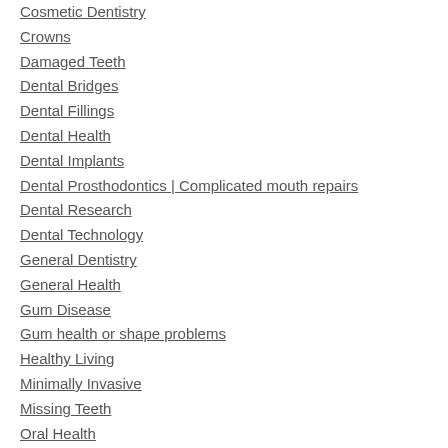Cosmetic Dentistry
Crowns
Damaged Teeth
Dental Bridges
Dental Fillings
Dental Health
Dental Implants
Dental Prosthodontics | Complicated mouth repairs
Dental Research
Dental Technology
General Dentistry
General Health
Gum Disease
Gum health or shape problems
Healthy Living
Minimally Invasive
Missing Teeth
Oral Health
Oral Hygiene